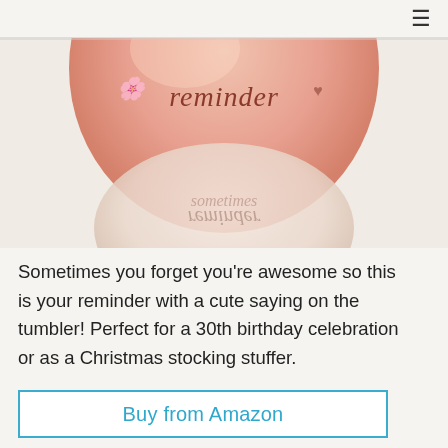≡
[Figure (photo): Close-up of a rose gold/pink tumbler with cursive text reading 'reminder' on the main ball portion, and a reflection or second tumbler visible below showing text. Background is light peach/cream.]
Sometimes you forget you're awesome so this is your reminder with a cute saying on the tumbler! Perfect for a 30th birthday celebration or as a Christmas stocking stuffer.
Buy from Amazon